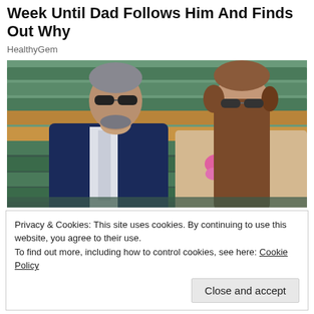Week Until Dad Follows Him And Finds Out Why
HealthyGem
[Figure (photo): Two people sitting in stadium seating (Wimbledon style green/tan seats). Left: older man with grey hair, dark navy suit, light tie, sunglasses. Right: young woman with long brown hair, sunglasses, sparkly top with pink flower corsage.]
Privacy & Cookies: This site uses cookies. By continuing to use this website, you agree to their use.
To find out more, including how to control cookies, see here: Cookie Policy
Close and accept